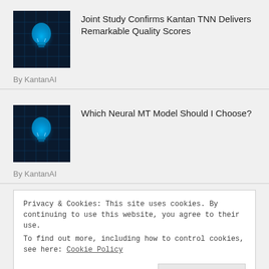[Figure (photo): Glowing blue brain/lightbulb on dark digital background]
Joint Study Confirms Kantan TNN Delivers Remarkable Quality Scores
By KantanAI
[Figure (photo): Glowing blue brain/lightbulb on dark digital background]
Which Neural MT Model Should I Choose?
By KantanAI
Privacy & Cookies: This site uses cookies. By continuing to use this website, you agree to their use.
To find out more, including how to control cookies, see here: Cookie Policy
Close and accept
By KantanAI